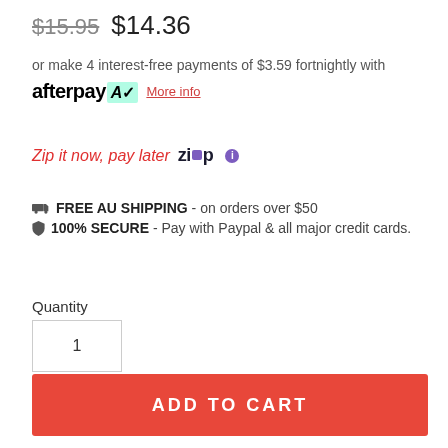$15.95  $14.36
or make 4 interest-free payments of $3.59 fortnightly with afterpay More info
Zip it now, pay later  Zip
FREE AU SHIPPING - on orders over $50
100% SECURE - Pay with Paypal & all major credit cards.
Quantity
1
ADD TO CART